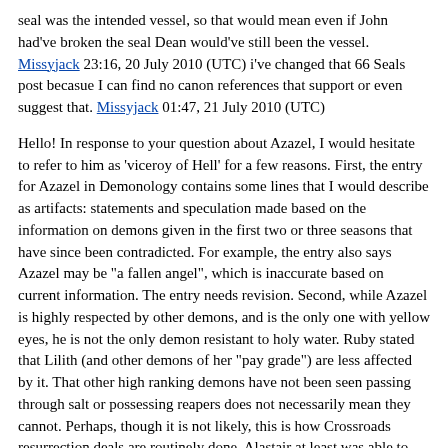seal was the intended vessel, so that would mean even if John had've broken the seal Dean would've still been the vessel. Missyjack 23:16, 20 July 2010 (UTC) i've changed that 66 Seals post becasue I can find no canon references that support or even suggest that. Missyjack 01:47, 21 July 2010 (UTC)
Hello! In response to your question about Azazel, I would hesitate to refer to him as 'viceroy of Hell' for a few reasons. First, the entry for Azazel in Demonology contains some lines that I would describe as artifacts: statements and speculation made based on the information on demons given in the first two or three seasons that have since been contradicted. For example, the entry also says Azazel may be "a fallen angel", which is inaccurate based on current information. The entry needs revision. Second, while Azazel is highly respected by other demons, and is the only one with yellow eyes, he is not the only demon resistant to holy water. Ruby stated that Lilith (and other demons of her "pay grade") are less affected by it. That other high ranking demons have not been seen passing through salt or possessing reapers does not necessarily mean they cannot. Perhaps, though it is not likely, this is how Crossroads resurrection deals are routinely done. Alastair at least was able to overpower two reapers. Third, 'viceroy' is not a rank that I have heard mentioned in canon. If I am mistaken and it has been used, I do not think it can be stated based on current information that Azazel holds this position. I would certainly agree